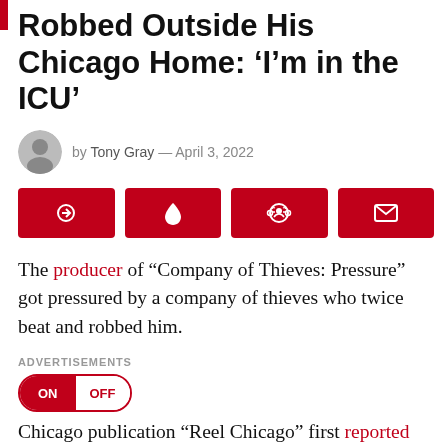Robbed Outside His Chicago Home: ‘I’m in the ICU’
by Tony Gray — April 3, 2022
[Figure (infographic): Four red social share buttons in a row: share (arrow), save (flame/drop), Reddit, and email (envelope) icons]
The producer of “Company of Thieves: Pressure” got pressured by a company of thieves who twice beat and robbed him.
ADVERTISEMENTS
ON  OFF
Chicago publication “Reel Chicago” first reported the city’s Film Director Kwame Amoaku, 51, was brutally attacked and robbed.